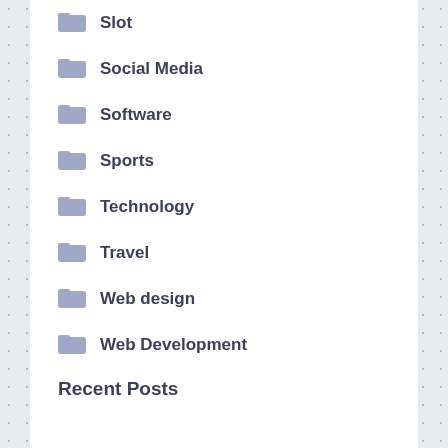Slot
Social Media
Software
Sports
Technology
Travel
Web design
Web Development
Web Hosting
Wedding
Recent Posts